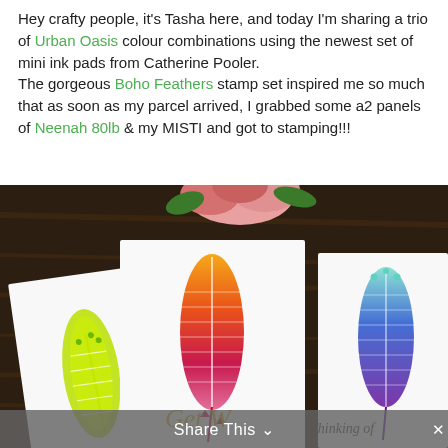Hey crafty people, it's Tasha here, and today I'm sharing a trio of Urban Oasis colour combinations using the newest set of mini ink pads from Catherine Pooler. The gorgeous Boho Feathers stamp set inspired me so much that as soon as my parcel arrived, I grabbed some a2 panels of Neenah 80lb & my MISTI and got to stamping!!!
[Figure (photo): Photo of three handmade cards on a dark wooden surface with a pink rose. Each card features a stamped Boho Feathers design: left card has a yellow-green feather, center card has an orange-to-red gradient feather with 'Get W' text (partial), right card has a teal-to-purple gradient feather with 'Thinking of' text (partial). A 'Share This' bar overlays the bottom.]